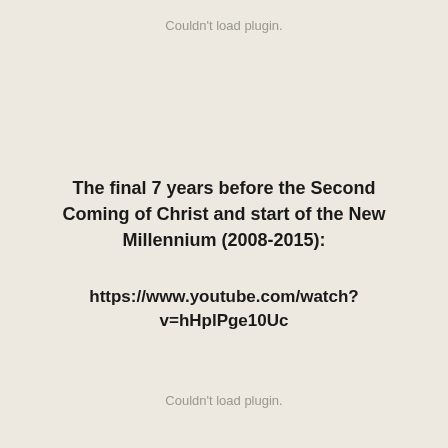Couldn't load plugin.
The final 7 years before the Second Coming of Christ and start of the New Millennium (2008-2015):
https://www.youtube.com/watch?v=hHplPge10Uc
Couldn't load plugin.